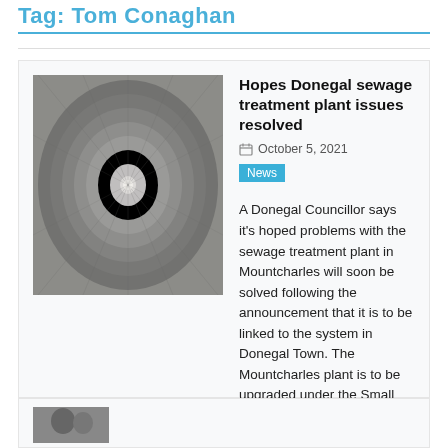Tag: Tom Conaghan
Hopes Donegal sewage treatment plant issues resolved
October 5, 2021
News
A Donegal Councillor says it’s hoped problems with the sewage treatment plant in Mountcharles will soon be solved following the announcement that it is to be linked to the system in Donegal Town. The Mountcharles plant is to be upgraded under the Small Towns and Villages Growth Programme. The aim...
[Figure (photo): Photo of a tunnel interior viewed from one end, showing circular curved walls with light at the far end.]